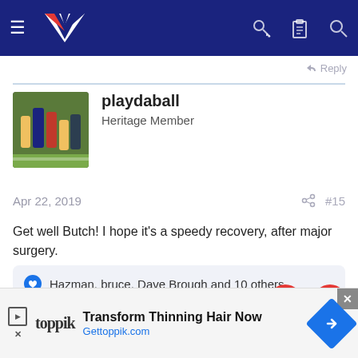NZ Rugby forum header with menu, logo, key, clipboard, search icons
Reply
playdaball
Heritage Member
Apr 22, 2019   #15
Get well Butch! I hope it's a speedy recovery, after major surgery.
Hazman, bruce, Dave Brough and 10 others
Reply
[Figure (screenshot): Toppik advertisement: Transform Thinning Hair Now, Gettoppik.com]
Transform Thinning Hair Now
Gettoppik.com